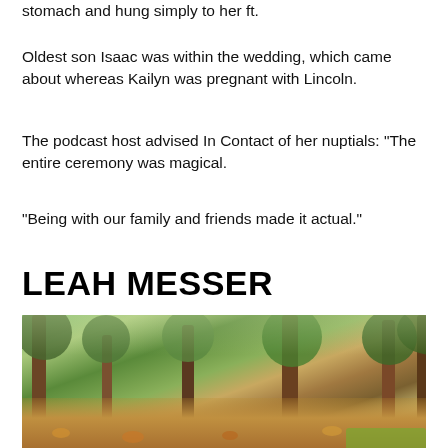stomach and hung simply to her ft.
Oldest son Isaac was within the wedding, which came about whereas Kailyn was pregnant with Lincoln.
The podcast host advised In Contact of her nuptials: “The entire ceremony was magical.
“Being with our family and friends made it actual.”
LEAH MESSER
[Figure (photo): Outdoor autumn forest scene with trees, foliage, and fallen leaves on the ground. A person appears to be partially visible at the bottom.]